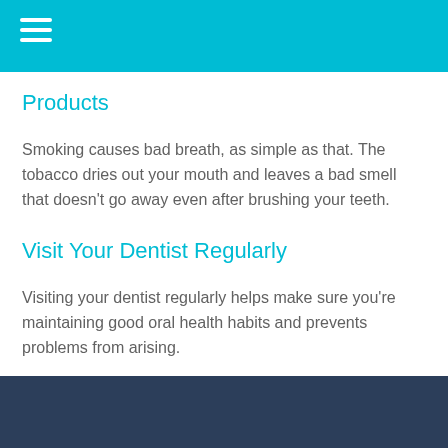Products
Smoking causes bad breath, as simple as that. The tobacco dries out your mouth and leaves a bad smell that doesn't go away even after brushing your teeth.
Visit Your Dentist Regularly
Visiting your dentist regularly helps make sure you're maintaining good oral health habits and prevents problems from arising.